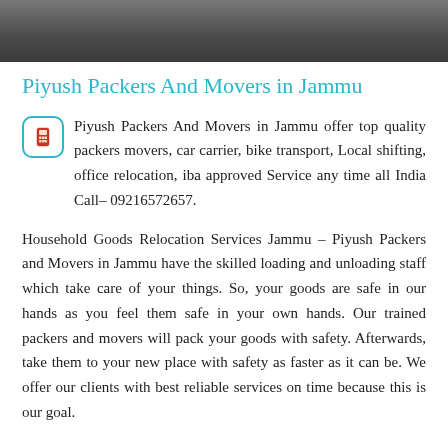[Figure (photo): Dark photo background bar at top of page]
Piyush Packers And Movers in Jammu
Piyush Packers And Movers in Jammu offer top quality packers movers, car carrier, bike transport, Local shifting, office relocation, iba approved Service any time all India Call– 09216572657.
Household Goods Relocation Services Jammu – Piyush Packers and Movers in Jammu have the skilled loading and unloading staff which take care of your things. So, your goods are safe in our hands as you feel them safe in your own hands. Our trained packers and movers will pack your goods with safety. Afterwards, take them to your new place with safety as faster as it can be. We offer our clients with best reliable services on time because this is our goal.